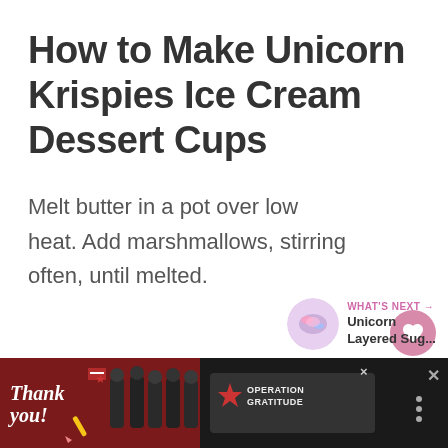How to Make Unicorn Krispies Ice Cream Dessert Cups
Melt butter in a pot over low heat. Add marshmallows, stirring often, until melted.
[Figure (other): Social sidebar with heart/like button showing count of 1, and a share button]
[Figure (other): What's Next panel with thumbnail image and text: Unicorn Layered Sug...]
[Figure (other): Advertisement banner at the bottom: Thank you Operation Gratitude ad with firefighters photo]